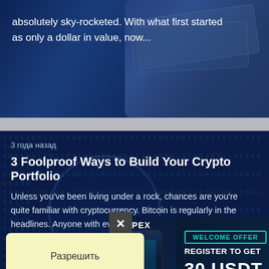absolutely sky-rocketed. With what first started as only a dollar in value, now...
[Figure (screenshot): Article card with dark blue background showing partial article text about cryptocurrency value sky-rocketing]
3 Foolproof Ways to Build Your Crypto Portfolio
3 года назад
Unless you've been living under a rock, chances are you're quite familiar with cryptocurrency. Bitcoin is regularly in the headlines. Anyone with even a basic understanding of cryptocur...
[Figure (screenshot): Article card with cryptocurrency binary code background (Bitcoin symbol), showing article title and excerpt. Overlaid with an X close button and JPEX crypto platform advertisement banner offering 'WELCOME OFFER - REGISTER TO GET 30 USDT']
Разрешить